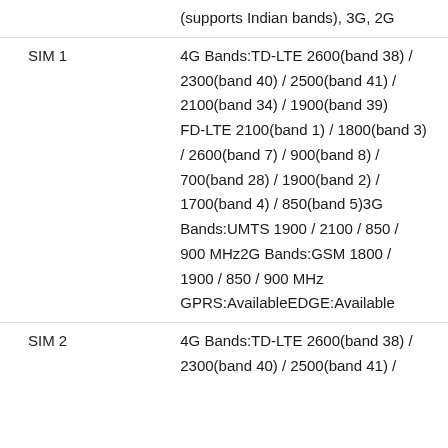| Property | Value |
| --- | --- |
|  | (supports Indian bands), 3G, 2G |
| SIM 1 | 4G Bands:TD-LTE 2600(band 38) / 2300(band 40) / 2500(band 41) / 2100(band 34) / 1900(band 39) FD-LTE 2100(band 1) / 1800(band 3) / 2600(band 7) / 900(band 8) / 700(band 28) / 1900(band 2) / 1700(band 4) / 850(band 5)3G Bands:UMTS 1900 / 2100 / 850 / 900 MHz2G Bands:GSM 1800 / 1900 / 850 / 900 MHz GPRS:AvailableEDGE:Available |
| SIM 2 | 4G Bands:TD-LTE 2600(band 38) / 2300(band 40) / 2500(band 41) / |